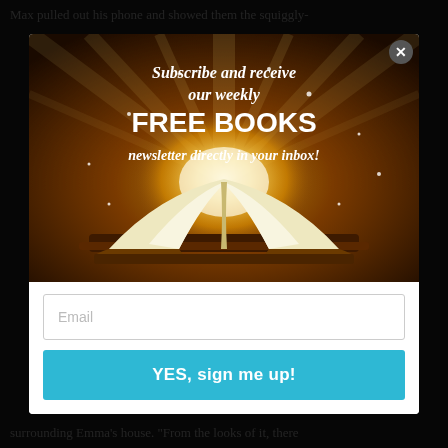Max pulled out his phone and showed them the squiggly-
[Figure (illustration): A glowing open book with a radiant light burst emanating from its pages against a dark golden-brown background. Text overlay reads: 'Subscribe and receive our weekly FREE BOOKS newsletter directly in your inbox!']
Email
YES, sign me up!
surrounding Emma's house. "From the looks of it, there